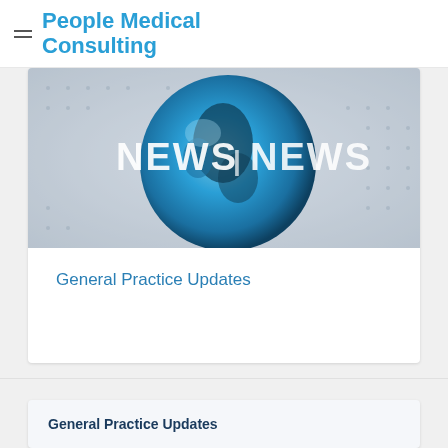People Medical Consulting
[Figure (photo): News broadcast graphic showing a globe with 'NEWS | NEWS' text overlay in white on a blue and grey world map background]
General Practice Updates
General Practice Updates